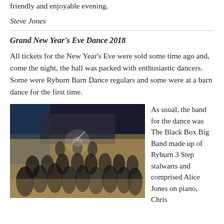friendly and enjoyable evening.
Steve Jones
Grand New Year's Eve Dance 2018
All tickets for the New Year's Eve were sold some time ago and, come the night, the hall was packed with enthusiastic dancers. Some were Ryburn Barn Dance regulars and some were at a barn dance for the first time.
[Figure (photo): Crowded dance hall with enthusiastic dancers at a New Year's Eve barn dance event. The hall appears packed with people dancing under bright lights, with a stage visible in the background.]
As usual, the band for the dance was The Black Box Big Band made up of Ryburn 3 Step stalwarts and comprised Alice Jones on piano, Chris